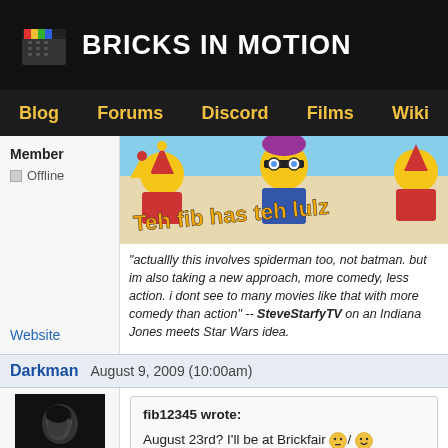BRICKS IN MOTION
Blog | Forums | Discord | Films | Wiki
Member
Offline
[Figure (photo): Banner image with LEGO figures and graffiti-style text reading 'Teh fib has teh lulz']
"actuallly this involves spiderman too, not batman. but im also taking a new approach, more comedy, less action. i dont see to many movies like that with more comedy than action" -- SteveStarfyTV on an Indiana Jones meets Star Wars idea.
Website
Darkman   August 9, 2009 (10:00am)
[Figure (photo): Black and white avatar photo of a person with dark hair looking down]
fib12345 wrote:
August 23rd? I'll be at Brickfair 😐/🙂